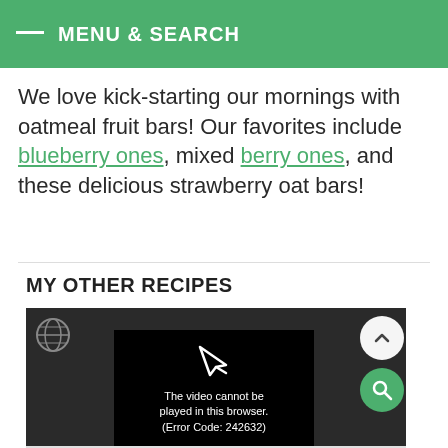MENU & SEARCH
We love kick-starting our mornings with oatmeal fruit bars! Our favorites include blueberry ones, mixed berry ones, and these delicious strawberry oat bars!
MY OTHER RECIPES
[Figure (screenshot): A video player showing an error message: 'The video cannot be played in this browser. (Error Code: 242632)']